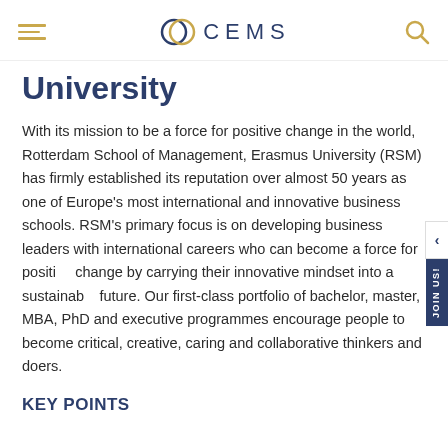CEMS
University
With its mission to be a force for positive change in the world, Rotterdam School of Management, Erasmus University (RSM) has firmly established its reputation over almost 50 years as one of Europe's most international and innovative business schools. RSM's primary focus is on developing business leaders with international careers who can become a force for positive change by carrying their innovative mindset into a sustainable future. Our first-class portfolio of bachelor, master, MBA, PhD and executive programmes encourage people to become critical, creative, caring and collaborative thinkers and doers.
KEY POINTS